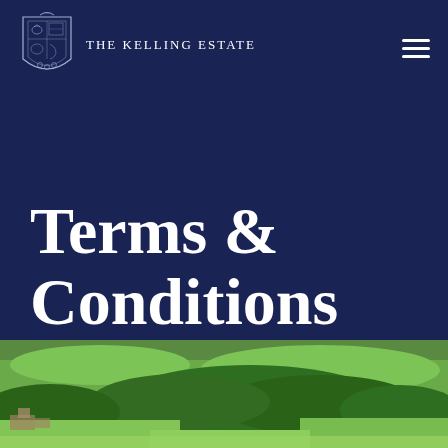[Figure (logo): The Kelling Estate coat of arms logo with crest illustration and text 'THE KELLING ESTATE']
Terms & Conditions
[Figure (photo): Aerial photograph of the Kelling Estate showing green countryside, fields, trees and buildings from above]